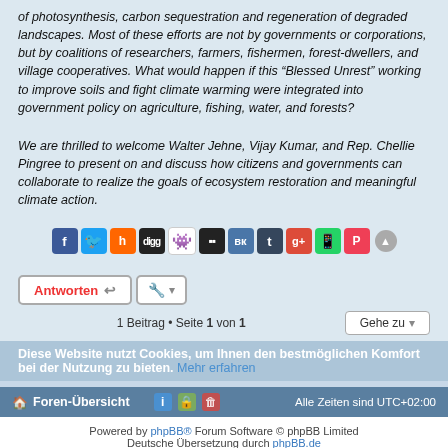of photosynthesis, carbon sequestration and regeneration of degraded landscapes. Most of these efforts are not by governments or corporations, but by coalitions of researchers, farmers, fishermen, forest-dwellers, and village cooperatives. What would happen if this “Blessed Unrest” working to improve soils and fight climate warming were integrated into government policy on agriculture, fishing, water, and forests?
We are thrilled to welcome Walter Jehne, Vijay Kumar, and Rep. Chellie Pingree to present on and discuss how citizens and governments can collaborate to realize the goals of ecosystem restoration and meaningful climate action.
[Figure (other): Row of social media share icons: Facebook, Twitter, Hacker News, Digg, Reddit, Delicious, VK, Tumblr, Google+, WhatsApp, Pocket, plus a scroll-to-top button]
1 Beitrag • Seite 1 von 1
Antworten
Foren-Übersicht
Alle Zeiten sind UTC+02:00
Powered by phpBB® Forum Software © phpBB Limited
Deutsche Übersetzung durch phpBB.de
Datenschutz | Nutzungsbedingungen